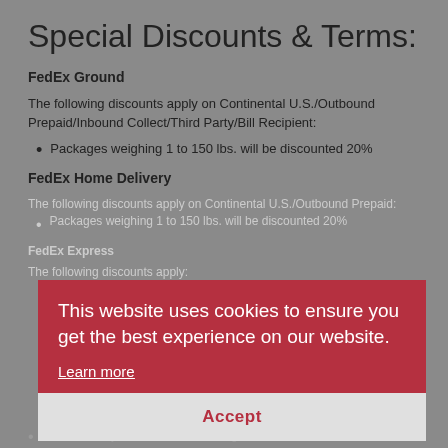Special Discounts & Terms:
FedEx Ground
The following discounts apply on Continental U.S./Outbound Prepaid/Inbound Collect/Third Party/Bill Recipient:
Packages weighing 1 to 150 lbs. will be discounted 20%
FedEx Home Delivery
The following discounts apply on Continental U.S./Outbound Prepaid:
Packages weighing 1 to 150 lbs. will be discounted 20%
FedEx Express
The following discounts apply:
FedEx Priority and Standard Overnight-50%
This website uses cookies to ensure you get the best experience on our website.
Learn more
Accept